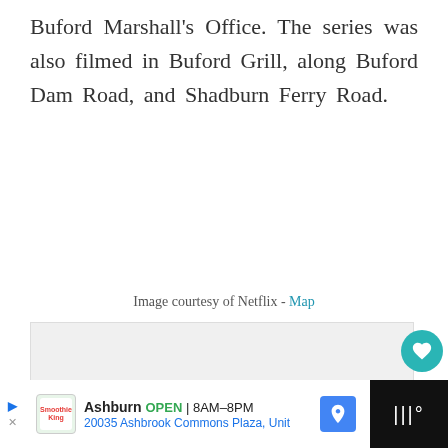Buford Marshall's Office. The series was also filmed in Buford Grill, along Buford Dam Road, and Shadburn Ferry Road.
Image courtesy of Netflix - Map
[Figure (photo): Image placeholder box with three navigation dots at the bottom, light gray background]
78
Ashburn OPEN | 8AM-8PM 20035 Ashbrook Commons Plaza, Unit